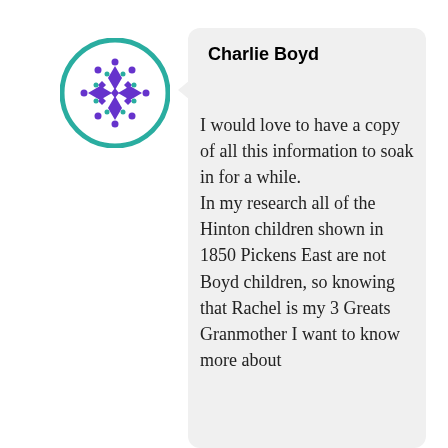[Figure (illustration): Circular avatar icon with a teal/green border and a purple geometric/floral pattern on a white background]
Charlie Boyd
I would love to have a copy of all this information to soak in for a while. In my research all of the Hinton children shown in 1850 Pickens East are not Boyd children, so knowing that Rachel is my 3 Greats Granmother I want to know more about